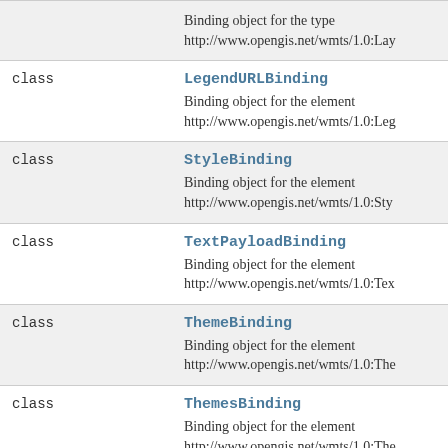| kind | name / description |
| --- | --- |
| class | LegendURLBinding
Binding object for the element http://www.opengis.net/wmts/1.0:Leg |
| class | StyleBinding
Binding object for the element http://www.opengis.net/wmts/1.0:Sty |
| class | TextPayloadBinding
Binding object for the element http://www.opengis.net/wmts/1.0:Tex |
| class | ThemeBinding
Binding object for the element http://www.opengis.net/wmts/1.0:The |
| class | ThemesBinding
Binding object for the element http://www.opengis.net/wmts/1.0:The |
| class | TileMatrixBinding |